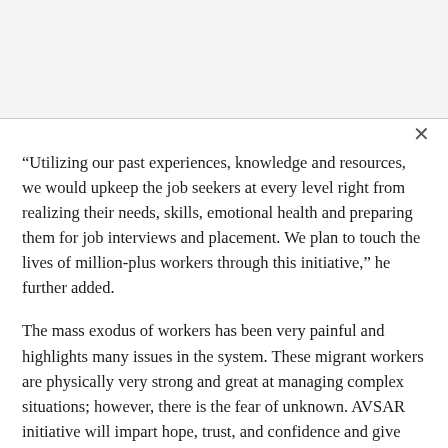“Utilizing our past experiences, knowledge and resources, we would upkeep the job seekers at every level right from realizing their needs, skills, emotional health and preparing them for job interviews and placement. We plan to touch the lives of million-plus workers through this initiative,” he further added.
The mass exodus of workers has been very painful and highlights many issues in the system. These migrant workers are physically very strong and great at managing complex situations; however, there is the fear of unknown. AVSAR initiative will impart hope, trust, and confidence and give them a new purpose to make their life better.
The proposed initiative is aimed at counselling the returned